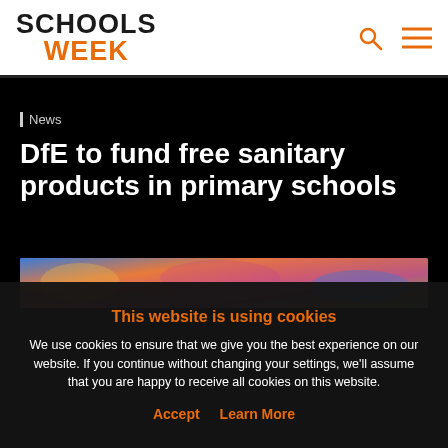SCHOOLS WEEK
Home › All news
News
DfE to fund free sanitary products in primary schools
[Figure (photo): Colorful blurred photo strip showing children or school items]
This website is using cookies
We use cookies to ensure that we give you the best experience on our website. If you continue without changing your settings, we'll assume that you are happy to receive all cookies on this website.
Accept   Learn More